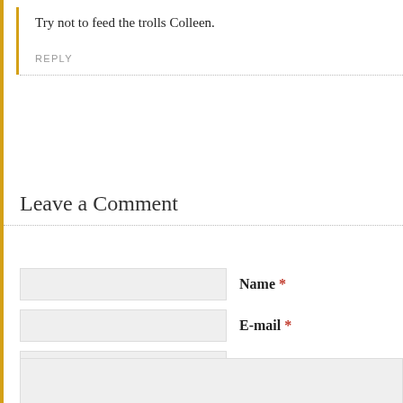Try not to feed the trolls Colleen.
REPLY
Leave a Comment
Name *
E-mail *
Website